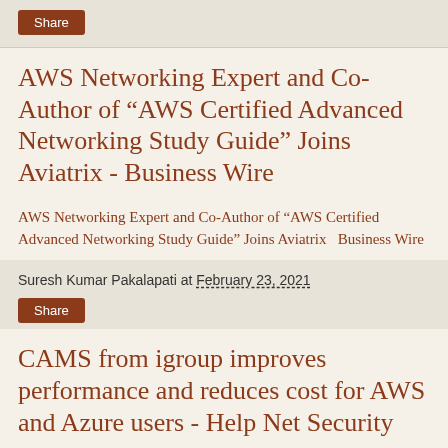Share
AWS Networking Expert and Co-Author of “AWS Certified Advanced Networking Study Guide” Joins Aviatrix - Business Wire
AWS Networking Expert and Co-Author of “AWS Certified Advanced Networking Study Guide” Joins Aviatrix  Business Wire
Suresh Kumar Pakalapati at February 23, 2021
Share
CAMS from igroup improves performance and reduces cost for AWS and Azure users - Help Net Security